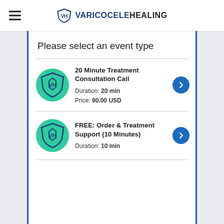VARICOCELEHEALING
Please select an event type
20 Minute Treatment Consultation Call
Duration: 20 min
Price: 90.00 USD
FREE: Order & Treatment Support (10 Minutes)
Duration: 10 min